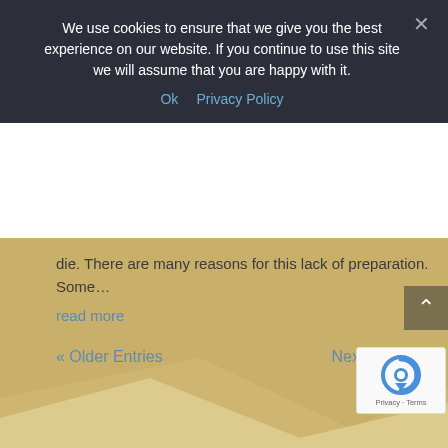We use cookies to ensure that we give you the best experience on our website. If you continue to use this site we will assume that you are happy with it.
Ok   Privacy Policy
die. There are many reasons for this lack of preparation. Some…
read more
« Older Entries
Next Entries »